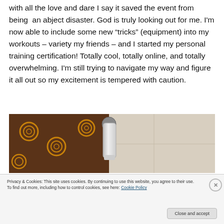with all the love and dare I say it saved the event from being an abject disaster. God is truly looking out for me. I'm now able to include some new “tricks” (equipment) into my workouts – variety my friends – and I started my personal training certification! Totally cool, totally online, and totally overwhelming. I'm still trying to navigate my way and figure it all out so my excitement is tempered with caution.
[Figure (photo): Close-up photo of exercise equipment or mat with circular pattern on brown fabric and a metal/white water bottle or equipment piece, next to a light tile floor.]
Privacy & Cookies: This site uses cookies. By continuing to use this website, you agree to their use.
To find out more, including how to control cookies, see here: Cookie Policy